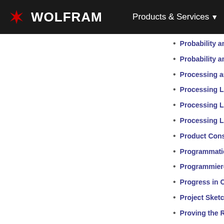WOLFRAM   Products & Services
Probability and Statistics 2.0  [in Conference Proceedings]
Probability and Statistics in Actuarial Science  [in Conference Proceedings]
Processing and Rendering Volumes  [in Conference Proceedings]
Processing Large Datasets with Mathematica and Kdb+
Processing Large Scale Systems of Equations in Financial
Processing Large Scale Systems of Equations in Financial
Product Construction: Building Mathematica  [in Conference Proceedings]
Programmatic Report Generation with Mathematica  [in Conference Proceedings]
Programmieren mit Wolfram Mathematica  [in Books]
Progress in Computer Algebra-Based Biological Modeling
Project Sketches  [in Conference Proceedings]
Proving the Riemann Hypothesis Over the Zeros of the Z
Publication Production and Processing  [in Conference Proceedings]
Publishing with CDF  [in Conference Proceedings]
Pulsed Laser Applications--Oscilloscopic and Spectroscopic
Pushing the Envelope: Advanced Strategies in Data Modeling
Quality Engineering with and in Mathematica  [in Conference Proceedings]
Quantile Regression - Theory, Implementations, and Applications